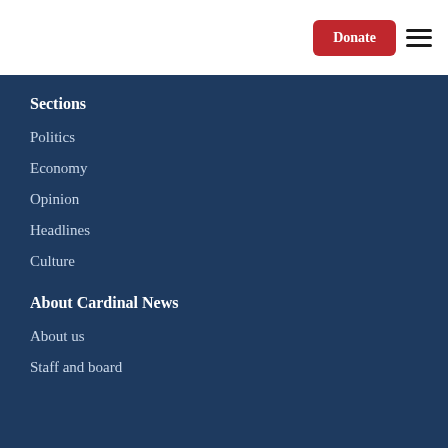Donate [button] [hamburger menu]
Sections
Politics
Economy
Opinion
Headlines
Culture
About Cardinal News
About us
Staff and board